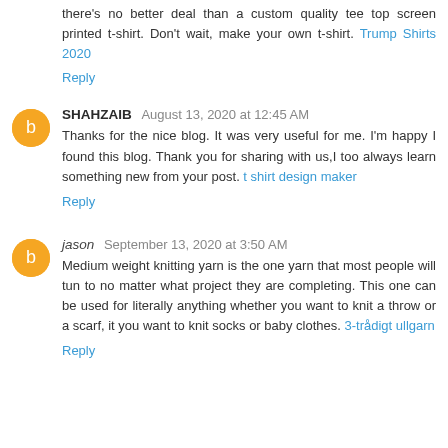there's no better deal than a custom quality tee top screen printed t-shirt. Don't wait, make your own t-shirt. Trump Shirts 2020
Reply
SHAHZAIB  August 13, 2020 at 12:45 AM
Thanks for the nice blog. It was very useful for me. I'm happy I found this blog. Thank you for sharing with us,I too always learn something new from your post. t shirt design maker
Reply
jason  September 13, 2020 at 3:50 AM
Medium weight knitting yarn is the one yarn that most people will tun to no matter what project they are completing. This one can be used for literally anything whether you want to knit a throw or a scarf, it you want to knit socks or baby clothes. 3-trådigt ullgarn
Reply